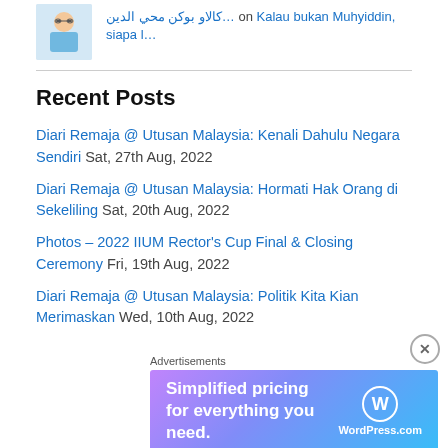كالاو بوكن محي الدين… on Kalau bukan Muhyiddin, siapa l…
Recent Posts
Diari Remaja @ Utusan Malaysia: Kenali Dahulu Negara Sendiri Sat, 27th Aug, 2022
Diari Remaja @ Utusan Malaysia: Hormati Hak Orang di Sekeliling Sat, 20th Aug, 2022
Photos – 2022 IIUM Rector's Cup Final & Closing Ceremony Fri, 19th Aug, 2022
Diari Remaja @ Utusan Malaysia: Politik Kita Kian Merimaskan Wed, 10th Aug, 2022
[Figure (infographic): WordPress.com advertisement banner: 'Simplified pricing for everything you need.' with WordPress logo]